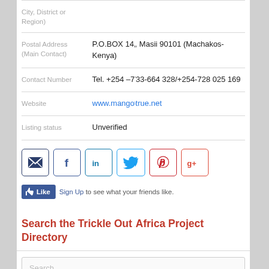| City, District or Region) |  |
| Postal Address (Main Contact) | P.O.BOX 14, Masii 90101 (Machakos-Kenya) |
| Contact Number | Tel. +254 –733-664 328/+254-728 025 169 |
| Website | www.mangotrue.net |
| Listing status | Unverified |
[Figure (infographic): Row of 6 social media icon buttons: email (envelope), Facebook (f), LinkedIn (in), Twitter (bird), Pinterest (P), Google+ (g+)]
Like  Sign Up to see what your friends like.
Search the Trickle Out Africa Project Directory
Search…